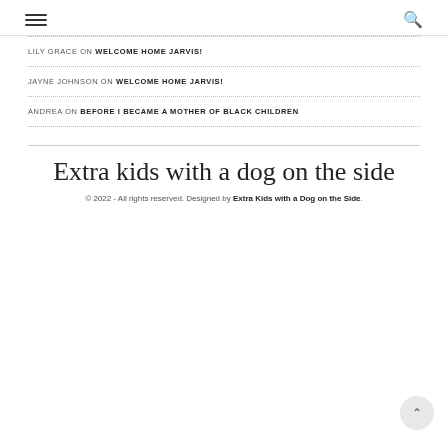Navigation menu and search icons
LILY GRACE ON WELCOME HOME JARVIS!
JAYNE JOHNSON ON WELCOME HOME JARVIS!
ANDREA ON BEFORE I BECAME A MOTHER OF BLACK CHILDREN
Extra kids with a dog on the side
© 2022 - All rights reserved. Designed by Extra Kids with a Dog on the Side.